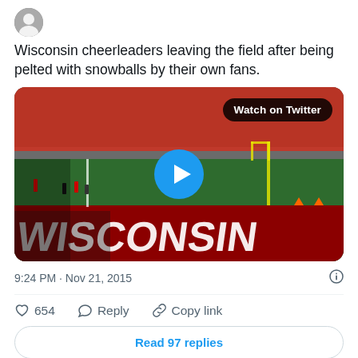[Figure (screenshot): Twitter/X avatar icon at top of tweet card]
Wisconsin cheerleaders leaving the field after being pelted with snowballs by their own fans.
[Figure (photo): Video thumbnail of Wisconsin football stadium end zone with 'WISCONSIN' painted on the field, showing fans in red in the stands. A blue play button circle is overlaid in the center. A 'Watch on Twitter' badge appears in the top right corner.]
9:24 PM · Nov 21, 2015
654  Reply  Copy link
Read 97 replies